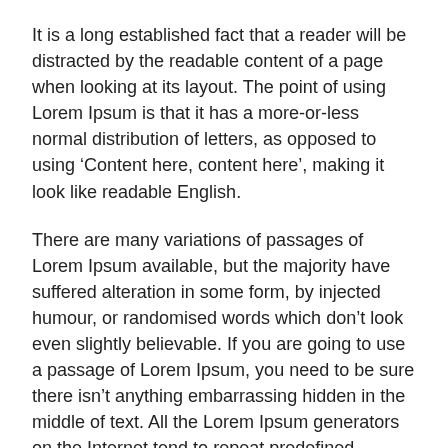It is a long established fact that a reader will be distracted by the readable content of a page when looking at its layout. The point of using Lorem Ipsum is that it has a more-or-less normal distribution of letters, as opposed to using ‘Content here, content here’, making it look like readable English.
There are many variations of passages of Lorem Ipsum available, but the majority have suffered alteration in some form, by injected humour, or randomised words which don’t look even slightly believable. If you are going to use a passage of Lorem Ipsum, you need to be sure there isn’t anything embarrassing hidden in the middle of text. All the Lorem Ipsum generators on the Internet tend to repeat predefined chunks as necessary, making this the first true generator on the Internet.
Contrary to popular belief, Lorem Ipsum is not simply random text. It has roots in a piece of classical Latin